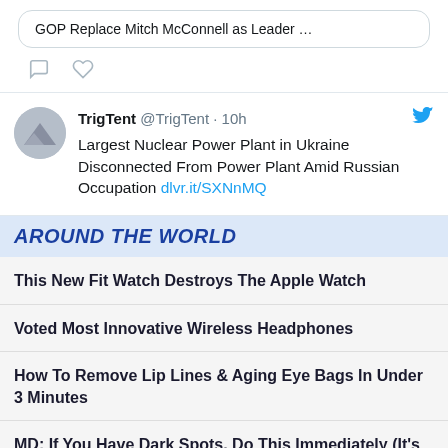GOP Replace Mitch McConnell as Leader …
[Figure (screenshot): Tweet icons: comment bubble and heart]
[Figure (screenshot): TrigTent @TrigTent · 10h tweet with Twitter bird icon. Avatar: gray circle with mountain logo. Tweet text: Largest Nuclear Power Plant in Ukraine Disconnected From Power Plant Amid Russian Occupation dlvr.it/SXNnMQ]
AROUND THE WORLD
This New Fit Watch Destroys The Apple Watch
Voted Most Innovative Wireless Headphones
How To Remove Lip Lines & Aging Eye Bags In Under 3 Minutes
MD: If You Have Dark Spots, Do This Immediately (It's Genius!)
1 Cup of This (Before Bed) Burns Belly Fat Like Crazy!